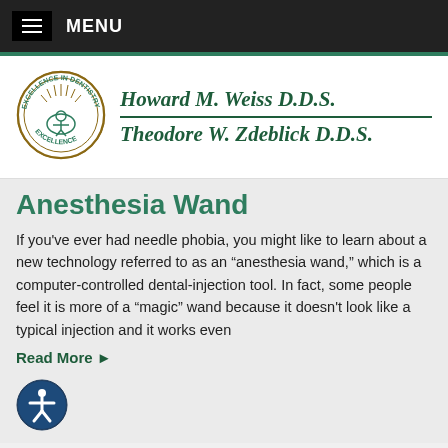MENU
[Figure (logo): Excellence in Dentistry circular seal logo with dental chair motif]
Howard M. Weiss D.D.S. / Theodore W. Zdeblick D.D.S.
Anesthesia Wand
If you've ever had needle phobia, you might like to learn about a new technology referred to as an “anesthesia wand,” which is a computer-controlled dental-injection tool. In fact, some people feel it is more of a “magic” wand because it doesn't look like a typical injection and it works even
Read More ▸
[Figure (illustration): Accessibility icon: person with arms outstretched in blue circle]